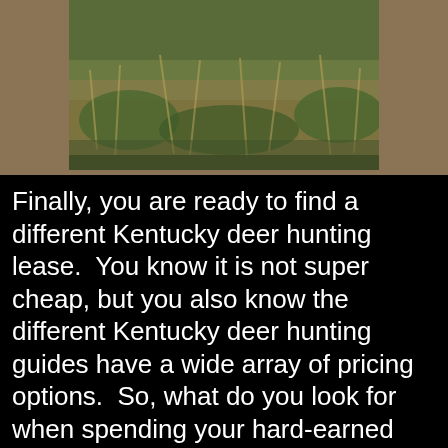[Figure (photo): Photograph of grass and dry vegetation/brush, viewed close-up, in a field or hunting area.]
Finally, you are ready to find a different Kentucky deer hunting lease.  You know it is not super cheap, but you also know the different Kentucky deer hunting guides have a wide array of pricing options.  So, what do you look for  when spending your hard-earned money?  Consider a few basic things:
Budget